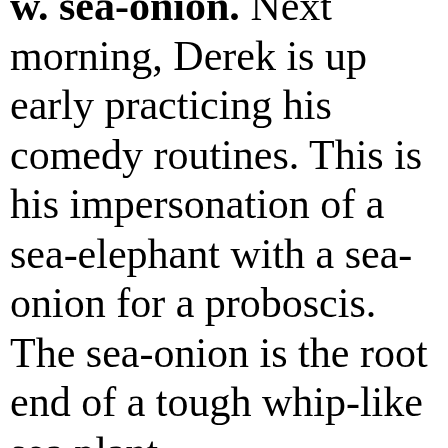w. sea-onion. Next morning, Derek is up early practicing his comedy routines. This is his impersonation of a sea-elephant with a sea-onion for a proboscis. The sea-onion is the root end of a tough whip-like sea plant.